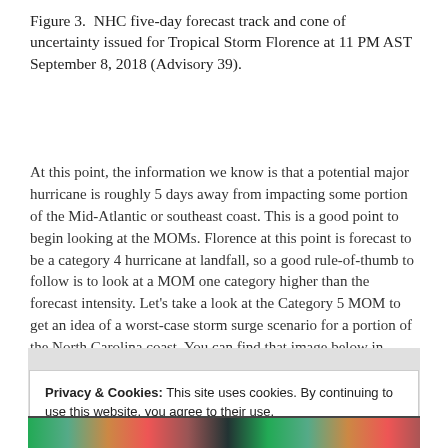Figure 3.  NHC five-day forecast track and cone of uncertainty issued for Tropical Storm Florence at 11 PM AST September 8, 2018 (Advisory 39).
At this point, the information we know is that a potential major hurricane is roughly 5 days away from impacting some portion of the Mid-Atlantic or southeast coast. This is a good point to begin looking at the MOMs. Florence at this point is forecast to be a category 4 hurricane at landfall, so a good rule-of-thumb to follow is to look at a MOM one category higher than the forecast intensity. Let's take a look at the Category 5 MOM to get an idea of a worst-case storm surge scenario for a portion of the North Carolina coast. You can find that image below in Figure 4.
[Figure (photo): Partial view of a NHC forecast track map for Tropical Storm Florence, with colored bands visible at top and bottom of image. A cookie consent overlay covers the center of the image.]
Privacy & Cookies: This site uses cookies. By continuing to use this website, you agree to their use.
To find out more, including how to control cookies, see here: Cookie Policy
Close and accept